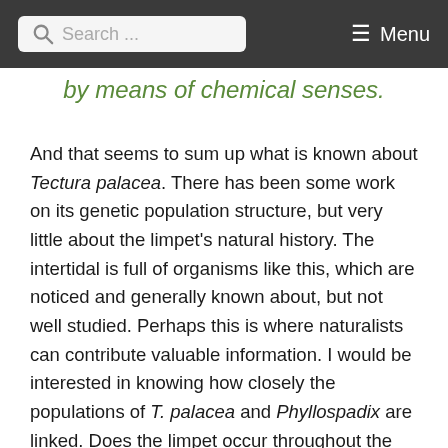Search ... Menu
by means of chemical senses.
And that seems to sum up what is known about Tectura palacea. There has been some work on its genetic population structure, but very little about the limpet's natural history. The intertidal is full of organisms like this, which are noticed and generally known about, but not well studied. Perhaps this is where naturalists can contribute valuable information. I would be interested in knowing how closely the populations of T. palacea and Phyllospadix are linked. Does the limpet occur throughout the surfgrass's range? Does the limpet live on both species of surfgrass on our coast? In the meantime, I've now got something else to keep my eye on when